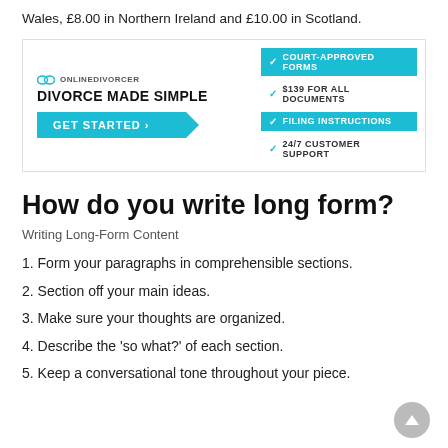Wales, £8.00 in Northern Ireland and £10.00 in Scotland.
[Figure (infographic): OnlineDivorcer advertisement banner with logo, 'DIVORCE MADE SIMPLE' title, 'GET STARTED' button, and feature list: COURT-APPROVED FORMS, $139 FOR ALL DOCUMENTS, FILING INSTRUCTIONS, 24/7 CUSTOMER SUPPORT]
How do you write long form?
Writing Long-Form Content
1. Form your paragraphs in comprehensible sections.
2. Section off your main ideas.
3. Make sure your thoughts are organized.
4. Describe the 'so what?' of each section.
5. Keep a conversational tone throughout your piece.